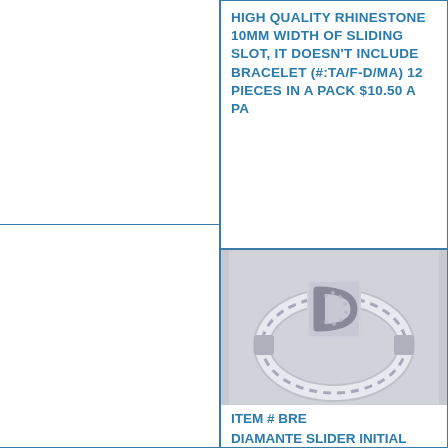HIGH QUALITY RHINESTONE 10MM WIDTH OF SLIDING SLOT, IT DOESN'T INCLUDE BRACELET (#:TA/F-D/MA) 12 PIECES IN A PACK $10.50 A PACK
HIGH QUALITY RHINESTONE 10MM WIDTH OF SLIDING SLOT, IT DOESN'T INCLUDE BRACELET (#:TA/F-D/MA) 12 PIECES IN A PACK $10.50 A PACK
[Figure (photo): Rhinestone diamante bracelet with letter D charm, silver hoop style]
ITEM # BRD1
DIAMANTE SLIDER INITIAL CHARM,
[Figure (photo): Rhinestone diamante bracelet with letter D/E charm, silver hoop style, partially cropped]
ITEM # BRE
DIAMANTE SLIDER INITIAL CHARM,